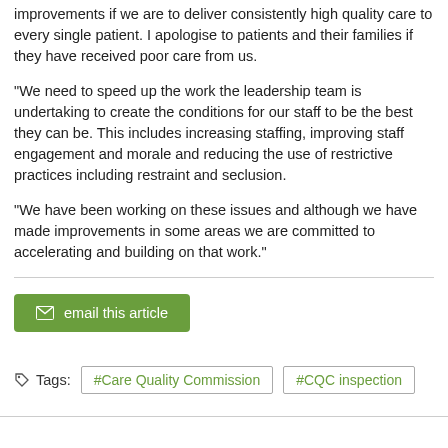improvements if we are to deliver consistently high quality care to every single patient. I apologise to patients and their families if they have received poor care from us.
“We need to speed up the work the leadership team is undertaking to create the conditions for our staff to be the best they can be. This includes increasing staffing, improving staff engagement and morale and reducing the use of restrictive practices including restraint and seclusion.
“We have been working on these issues and although we have made improvements in some areas we are committed to accelerating and building on that work.”
email this article
Tags:  #Care Quality Commission  #CQC inspection